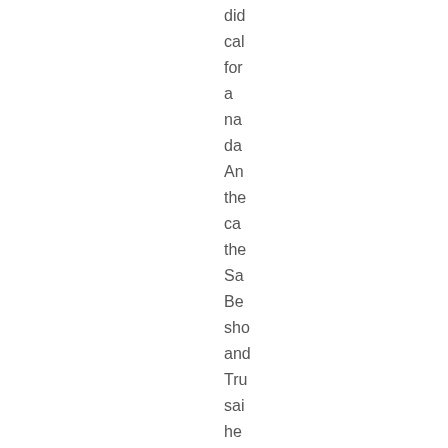did
cal
for
a
na
da
An
the
ca
the
Sa
Be
sho
and
Tru
sai
he